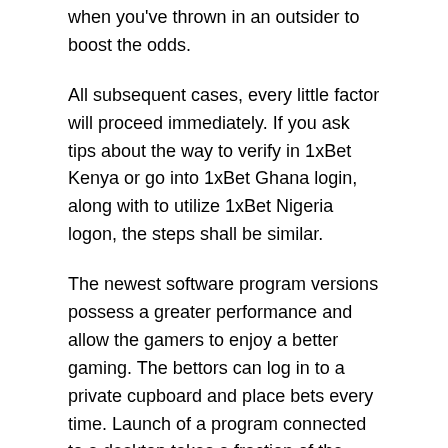when you've thrown in an outsider to boost the odds.
All subsequent cases, every little factor will proceed immediately. If you ask tips about the way to verify in 1xBet Kenya or go into 1xBet Ghana login, along with to utilize 1xBet Nigeria logon, the steps shall be similar.
The newest software program versions possess a greater performance and allow the gamers to enjoy a better gaming. The bettors can log in to a private cupboard and place bets every time. Launch of a program connected to a desktop takes a fraction of the time than if it gets downloaded from a browser. Virtually all what I said above in can be utilized either to bets market on corners or bets market on playing cards. There is identical division on the match on halves and the identical an enormous variety of bets. There is one more variant of the bet as “Yellow cards in the interval” the place you might be supplied to guess whether will be or to not be given a card in a specific